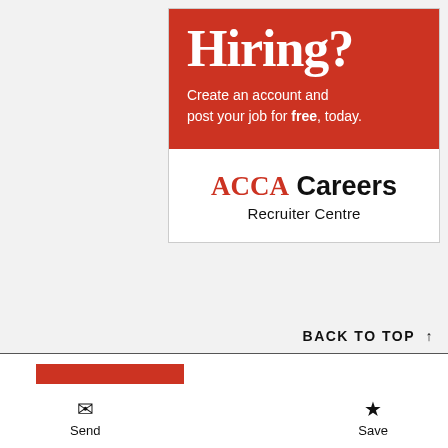[Figure (infographic): ACCA Careers Recruiter Centre advertisement. Red background section with large serif 'Hiring?' heading and white text 'Create an account and post your job for free, today.' Below in white section: ACCA Careers Recruiter Centre logo/text.]
BACK TO TOP ↑
Send | Save